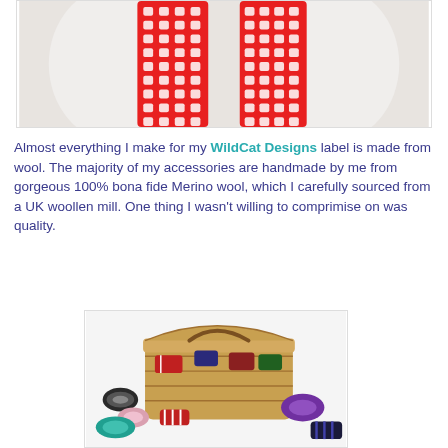[Figure (photo): A red and white patterned knitted scarf with cat/owl motif draped on a white mannequin torso]
Almost everything I make for my WildCat Designs label is made from wool. The majority of my accessories are handmade by me from gorgeous 100% bona fide Merino wool, which I carefully sourced from a UK woollen mill. One thing I wasn't willing to comprimise on was quality.
[Figure (photo): A wicker hamper basket filled with colourful rolled woollen accessories (scarves, mittens) spilling out onto a white surface]